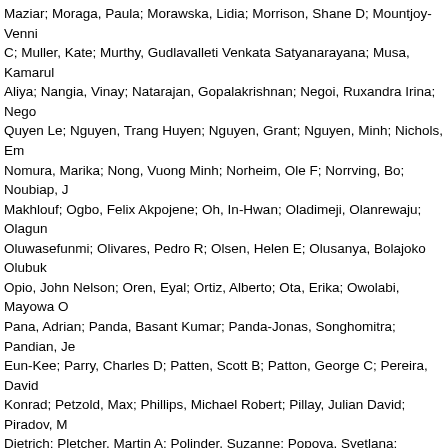Maziar; Moraga, Paula; Morawska, Lidia; Morrison, Shane D; Mountjoy-Venning, C; Muller, Kate; Murthy, Gudlavalleti Venkata Satyanarayana; Musa, Kamarul Aliya; Nangia, Vinay; Natarajan, Gopalakrishnan; Negoi, Ruxandra Irina; Nguyen, Quyen Le; Nguyen, Trang Huyen; Nguyen, Grant; Nguyen, Minh; Nichols, Emma; Nomura, Marika; Nong, Vuong Minh; Norheim, Ole F; Norrving, Bo; Noubiap, Jean Makhlouf; Ogbo, Felix Akpojene; Oh, In-Hwan; Oladimeji, Olanrewaju; Olagunju, Oluwasefunmi; Olivares, Pedro R; Olsen, Helen E; Olusanya, Bolajoko Olubukola; Opio, John Nelson; Oren, Eyal; Ortiz, Alberto; Ota, Erika; Owolabi, Mayowa O; Pana, Adrian; Panda, Basant Kumar; Panda-Jonas, Songhomitra; Pandian, Jeyaraj Eun-Kee; Parry, Charles D; Patten, Scott B; Patton, George C; Pereira, David Konrad; Petzold, Max; Phillips, Michael Robert; Pillay, Julian David; Piradov, Mikhail Dietrich; Pletcher, Martin A; Polinder, Suzanne; Popova, Svetlana; Poulton, Richie Narayan; Purcell, Carrie; Qorbani, Mostafa; Radfar, Amir; Rafay, Anwar; Rahim, Vafa; Rahman, Mohammad Hifz Ur; Rahman, Muhammad Aziz; Rahman, Mahfuzur Sasa; Ram, Usha; Rawaf, Salman; Rehm, Colin D; Rehm, Jürgen; Reiner, Rob; Giuseppe; Renzaho, Andre M N; Resnikoff, Serge; Reynales-Shigematsu, Luz Maria Antonio L; Rivera, Juan A; Roba, Kedir Teji; Rojas-Rueda, David; Roman, Yesenia Gholamreza; Roth, Gregory A; Rothenbacher, Dietrich; Rubagotti, Enrico; Rushdi, Mahdi; Safi, Sare; Safiri, Saeid; Sahathevan, Ramesh; Salama, Joseph; Salomon, Sanabria, Juan Ramon; Sanchez-Niño, Maria Dolores; Sánchez-Pimienta, Tania Ittamar S; Santric Milicevic, Milena M; Sartorius, Benn; Satpathy, Maheswar; Schmidt, Maria Inês; Schneider, Ione J C; Schutte, Aletta E; Schwebel, David Senoniou, Sedef C; Serder, Perrin; Servan Mari, Edson E; Shaddick, Gavin;